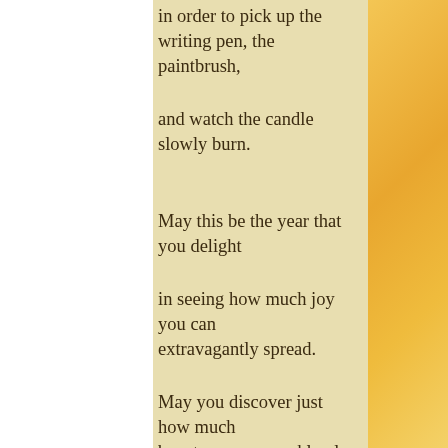in order to pick up the writing pen, the paintbrush,
and watch the candle slowly burn.
May this be the year that you delight
in seeing how much joy you can extravagantly spread.
May you discover just how much beauty you can recklessly shower
upon this thirsty world.
May this be the year that you tune both the dusty piano in the corner